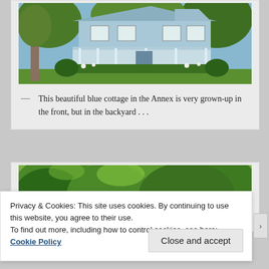[Figure (photo): A beautiful blue Victorian-style cottage with white trim, wraparound porch, surrounded by green lawn, shrubs, and flowering plants. Large tree on the left side.]
— This beautiful blue cottage in the Annex is very grown-up in the front, but in the backyard . . .
[Figure (photo): A lush green backyard garden with dense leafy trees and shrubs, with what appears to be a red garden structure partially visible.]
Privacy & Cookies: This site uses cookies. By continuing to use this website, you agree to their use.
To find out more, including how to control cookies, see here: Cookie Policy
Close and accept